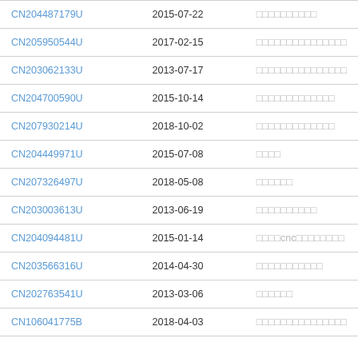| Patent Number | Date | Description |
| --- | --- | --- |
| CN204487179U | 2015-07-22 | □□□□□□□□□□ |
| CN205950544U | 2017-02-15 | □□□□□□□□□□□□□□□ |
| CN203062133U | 2013-07-17 | □□□□□□□□□□□□□□□ |
| CN204700590U | 2015-10-14 | □□□□□□□□□□□□□ |
| CN207930214U | 2018-10-02 | □□□□□□□□□□□□□ |
| CN204449971U | 2015-07-08 | □□□□ |
| CN207326497U | 2018-05-08 | □□□□□□ |
| CN203003613U | 2013-06-19 | □□□□□□□□□□ |
| CN204094481U | 2015-01-14 | □□□□cnc□□□□□□□□ |
| CN203566316U | 2014-04-30 | □□□□□□□□□□□ |
| CN202763541U | 2013-03-06 | □□□□□□ |
| CN106041775B | 2018-04-03 | □□□□□□□□□□□□□□□ |